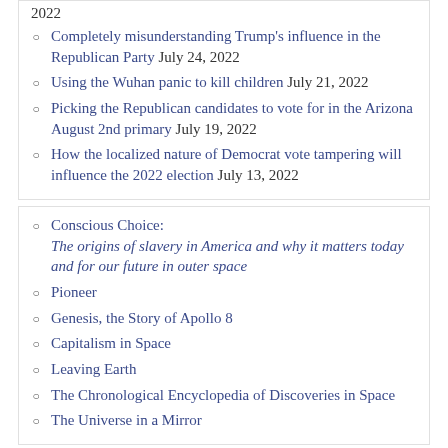Completely misunderstanding Trump’s influence in the Republican Party July 24, 2022
Using the Wuhan panic to kill children July 21, 2022
Picking the Republican candidates to vote for in the Arizona August 2nd primary July 19, 2022
How the localized nature of Democrat vote tampering will influence the 2022 election July 13, 2022
Conscious Choice: The origins of slavery in America and why it matters today and for our future in outer space
Pioneer
Genesis, the Story of Apollo 8
Capitalism in Space
Leaving Earth
The Chronological Encyclopedia of Discoveries in Space
The Universe in a Mirror